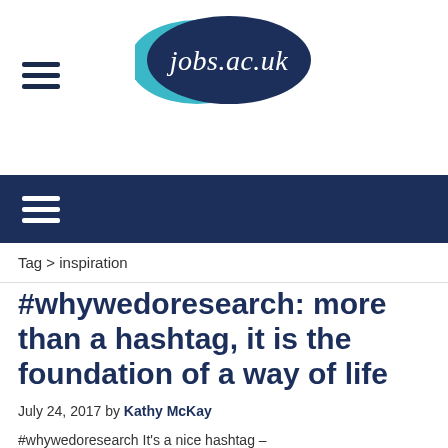[Figure (logo): jobs.ac.uk logo — dark navy oval with italic white text 'jobs.ac.uk' and a teal/cyan highlight on the left side]
≡  [hamburger menu icon top-left]
≡  [hamburger menu icon in dark navy navigation bar]
Tag > inspiration
#whywedoresearch: more than a hashtag, it is the foundation of a way of life
July 24, 2017 by Kathy McKay
#whywedoresearch It's a nice hashtag –